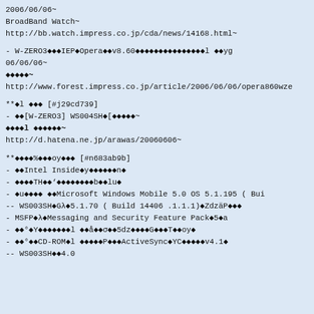2006/06/06~
BroadBand Watch~
http://bb.watch.impress.co.jp/cda/news/14168.html~
- W-ZERO3♦♦♦IEP♦Opera♦♦v8.60♦♦♦♦♦♦♦♦♦♦♦♦♦♦♦l ♦♦yg
06/06/06~
♦♦♦♦♦~
http://www.forest.impress.co.jp/article/2006/06/06/opera860wze
**♦l ♦♦♦ [#j29cd739]
- ♦♦[W-ZERO3] WS004SH♦[♦♦♦♦♦~
♦♦♦♦l ♦♦♦♦♦♦~
http://d.hatena.ne.jp/arawas/20060606~
**♦♦♦♦%♦♦♦oy♦♦♦ [#n683ab9b]
- ♦♦Intel Inside♦y♦♦♦♦♦♦n♦
- ♦♦♦♦TH♦♦'♦♦♦♦♦♦♦♦b♦♦lu♦
- ♦u♦♦♦♦ ♦♦Microsoft Windows Mobile 5.0 OS 5.1.195 ( Bui
-- WS003SH♦G,♦5.1.70 ( Build 14406 .1.1.1)♦ZdzäP♦♦♦
- MSFP♦,♦Messaging and Security Feature Pack♦5♦a
- ♦♦°♦Y♦♦♦♦♦♦♦l ♦♦å♦♦σ♦♦5dz♦♦♦♦G♦♦♦T♦♦oy♦
- ♦♦°♦♦CD-ROM♦l ♦♦♦♦♦P♦♦♦ActiveSync♦YC♦♦♦♦♦v4.1♦
-- WS003SH♦♦4.0